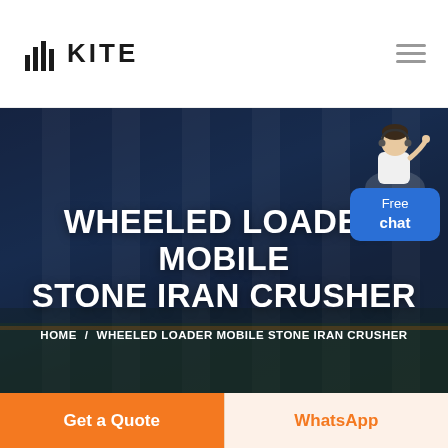KITE
[Figure (photo): Hero banner image showing an industrial/urban building at dusk with dark blue overlay, featuring 'Wheeled Loader Mobile Stone Iran Crusher' as the page title and breadcrumb navigation. A chat widget with a customer service representative icon and 'Free chat' button appears in the top right of the hero image.]
WHEELED LOADER MOBILE STONE IRAN CRUSHER
HOME / WHEELED LOADER MOBILE STONE IRAN CRUSHER
Get a Quote
WhatsApp